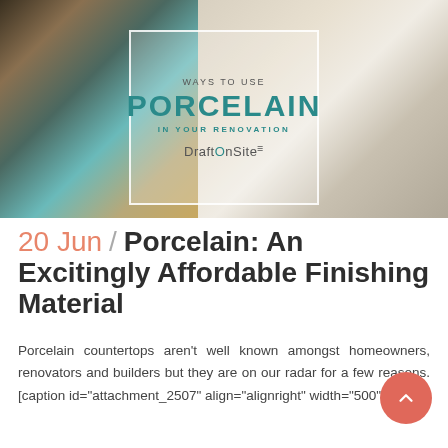[Figure (photo): Hero image showing a luxury interior with a pool on the left and marble outdoor lounge area with deck chairs on the right. Overlay box in center with text.]
WAYS TO USE
PORCELAIN
IN YOUR RENOVATION
DraftOnSite
20 Jun  /  Porcelain: An Excitingly Affordable Finishing Material
Porcelain countertops aren't well known amongst homeowners, renovators and builders but they are on our radar for a few reasons. [caption id="attachment_2507" align="alignright" width="500"]